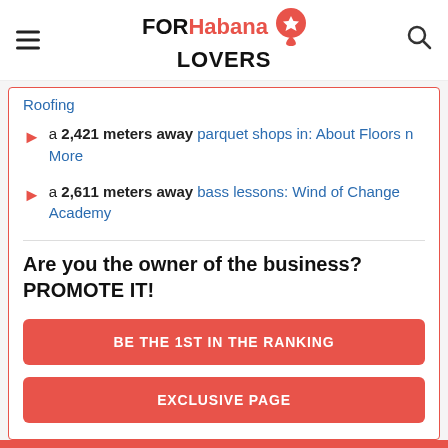FORHabana LOVERS
Roofing
a 2,421 meters away parquet shops in: About Floors n More
a 2,611 meters away bass lessons: Wind of Change Academy
Are you the owner of the business? PROMOTE IT!
BE THE 1ST IN THE RANKING
EXCLUSIVE PAGE